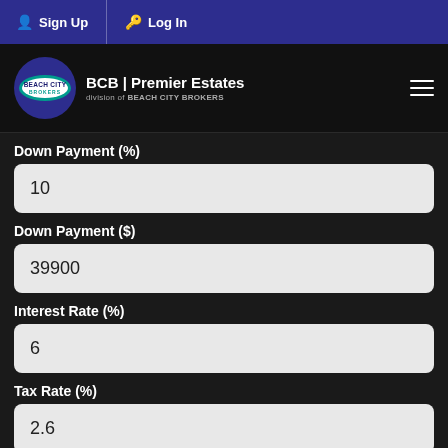Sign Up | Log In
[Figure (logo): Beach City Brokers logo with BCB | Premier Estates branding]
Down Payment (%)
10
Down Payment ($)
39900
Interest Rate (%)
6
Tax Rate (%)
2.6